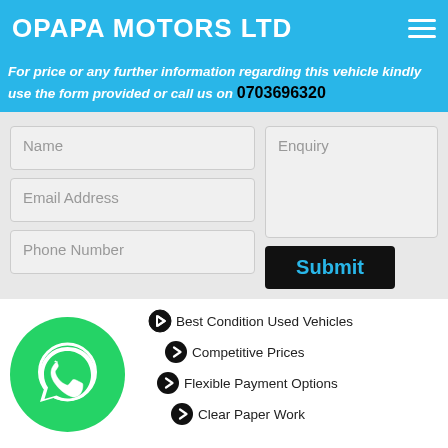OPAPA MOTORS LTD
For price or any further information regarding this vehicle kindly use the form provided or call us on 0703696320
[Figure (screenshot): Contact form with Name, Email Address, Phone Number input fields on left; Enquiry textarea and Submit button on right]
Best Condition Used Vehicles
Competitive Prices
Flexible Payment Options
Clear Paper Work